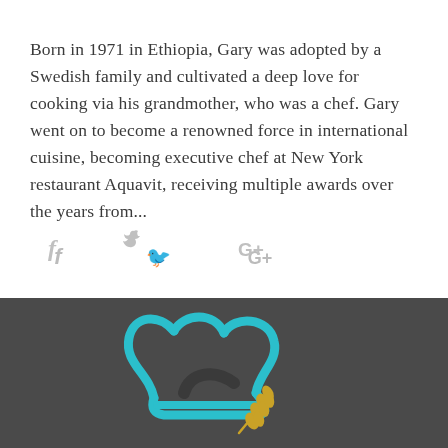Born in 1971 in Ethiopia, Gary was adopted by a Swedish family and cultivated a deep love for cooking via his grandmother, who was a chef. Gary went on to become a renowned force in international cuisine, becoming executive chef at New York restaurant Aquavit, receiving multiple awards over the years from...
[Figure (infographic): Social sharing icons: Facebook (f), Twitter (bird), Google+ (G+) in light grey]
[Figure (logo): Chef's toque/hat logo in teal/turquoise outline with a golden wheat sprig, on dark grey background]